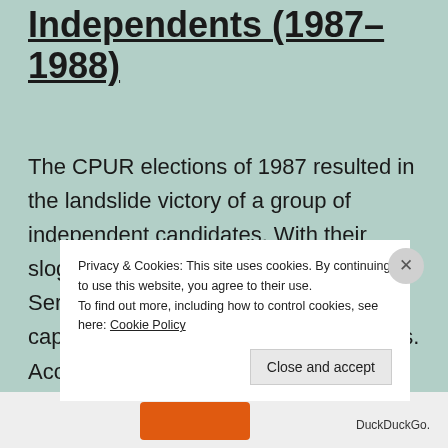Independents (1987-1988)
The CPUR elections of 1987 resulted in the landslide victory of a group of independent candidates. With their slogan “I am Independent! I am free to Serve!” these batch of CPUR leaders captured the sentiments of the students. Accomplishments of Salido and p...
Privacy & Cookies: This site uses cookies. By continuing to use this website, you agree to their use. To find out more, including how to control cookies, see here: Cookie Policy